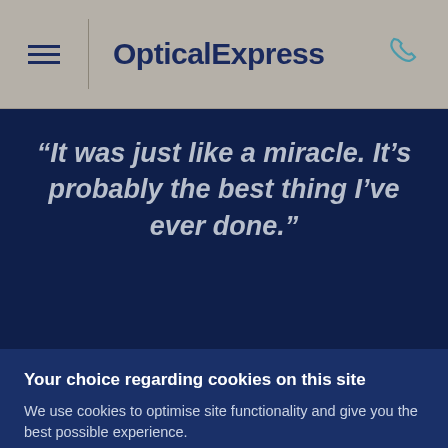OpticalExpress
“It was just like a miracle. It’s probably the best thing I’ve ever done.”
Your choice regarding cookies on this site
We use cookies to optimise site functionality and give you the best possible experience.
I Accept
Settings